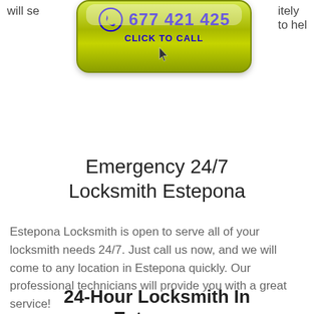will se… itely to hel…
[Figure (other): Green call-to-action button with phone icon, number 677 421 425, and CLICK TO CALL text with cursor icon]
Emergency 24/7 Locksmith Estepona
Estepona Locksmith is open to serve all of your locksmith needs 24/7. Just call us now, and we will come to any location in Estepona quickly. Our professional technicians will provide you with a great service!
24-Hour Locksmith In Estepona.